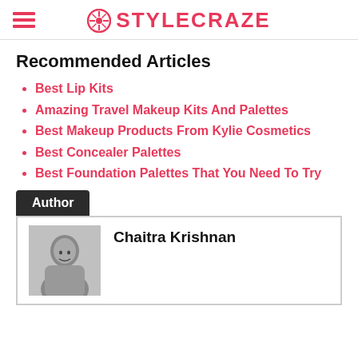STYLECRAZE
Recommended Articles
Best Lip Kits
Amazing Travel Makeup Kits And Palettes
Best Makeup Products From Kylie Cosmetics
Best Concealer Palettes
Best Foundation Palettes That You Need To Try
Author
Chaitra Krishnan